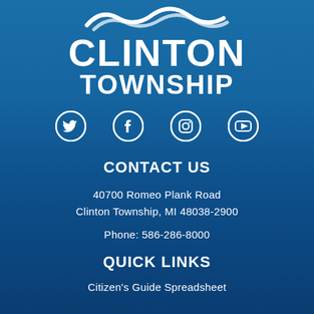[Figure (logo): Clinton Township logo with wave graphic above text]
CLINTON TOWNSHIP
[Figure (infographic): Four social media icons: Twitter, Facebook, Instagram, YouTube]
CONTACT US
40700 Romeo Plank Road
Clinton Township, MI 48038-2900
Phone: 586-286-8000
QUICK LINKS
Citizen's Guide Spreadsheet